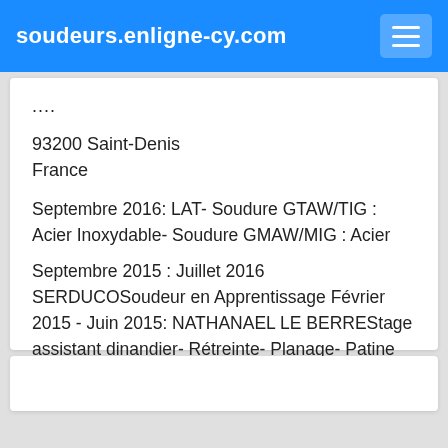soudeurs.enligne-cy.com
....
93200 Saint-Denis
France
Septembre 2016: LAT- Soudure GTAW/TIG : Acier Inoxydable- Soudure GMAW/MIG : Acier
Septembre 2015 : Juillet 2016 SERDUCOSoudeur en Apprentissage Février 2015 - Juin 2015: NATHANAEL LE BERREStage assistant dinandier- Rétreinte- Planage- Patine